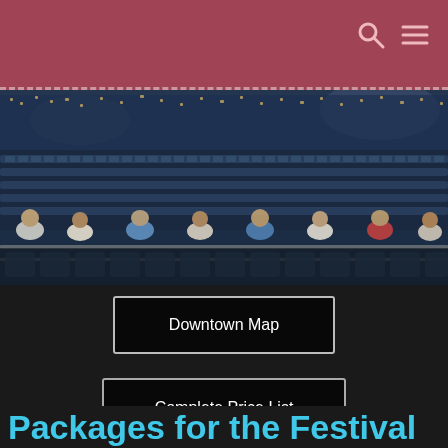[Figure (photo): Aerial view of a large outdoor festival/concert venue packed with thousands of attendees in stadium seating, taken at dusk or twilight.]
Downtown Map
Complete Price List
Packages for the Festival